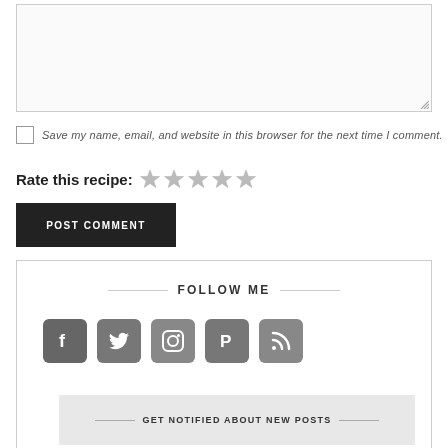[Figure (screenshot): Empty textarea input box with resize handle at bottom-right corner]
Save my name, email, and website in this browser for the next time I comment.
Rate this recipe: ★★★★★
POST COMMENT
FOLLOW ME
[Figure (infographic): Social media icons row: Facebook, Twitter, Instagram, Pinterest, RSS]
GET NOTIFIED ABOUT NEW POSTS